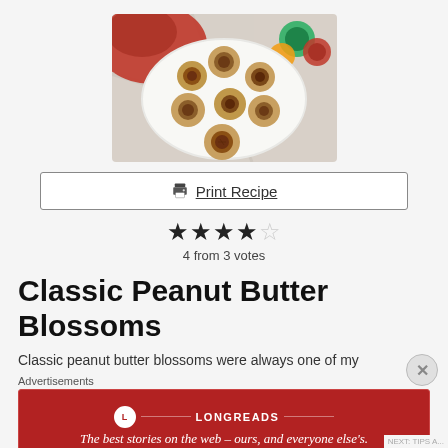[Figure (photo): Overhead photo of peanut butter blossom cookies on a white plate with a red cloth and colorful candies in background]
Print Recipe
4 from 3 votes
Classic Peanut Butter Blossoms
Classic peanut butter blossoms were always one of my
Advertisements
[Figure (other): Longreads advertisement banner: 'The best stories on the web – ours, and everyone else's.']